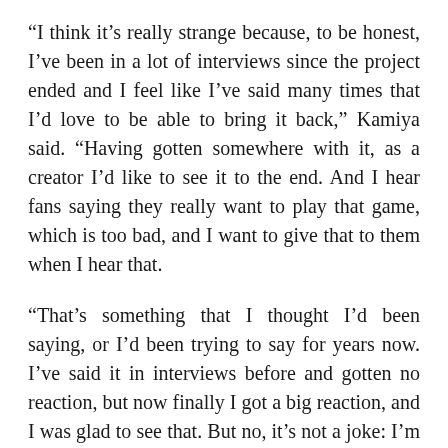“I think it’s really strange because, to be honest, I’ve been in a lot of interviews since the project ended and I feel like I’ve said many times that I’d love to be able to bring it back,” Kamiya said. “Having gotten somewhere with it, as a creator I’d like to see it to the end. And I hear fans saying they really want to play that game, which is too bad, and I want to give that to them when I hear that.
“That’s something that I thought I’d been saying, or I’d been trying to say for years now. I’ve said it in interviews before and gotten no reaction, but now finally I got a big reaction, and I was glad to see that. But no, it’s not a joke: I’m totally serious about it,